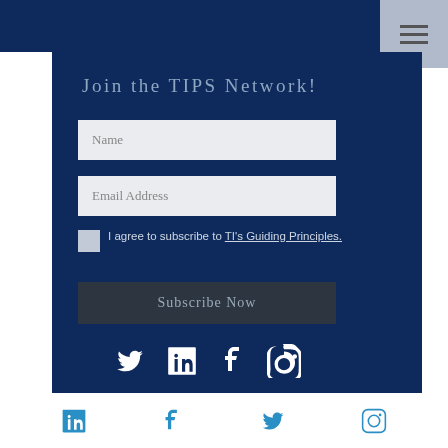[Figure (screenshot): Hamburger menu icon (three horizontal lines) on grey background in upper right corner]
Join the TIPS Network!
Name
Email Address
I agree to subscribe to TI's Guiding Principles.
Subscribe Now
[Figure (infographic): Social media icons: Twitter, LinkedIn, Facebook, Instagram in white on navy background]
© 2019 by Talking Business.
[Figure (infographic): Social media icons: LinkedIn, Facebook, Twitter, Instagram in blue on white background at bottom]